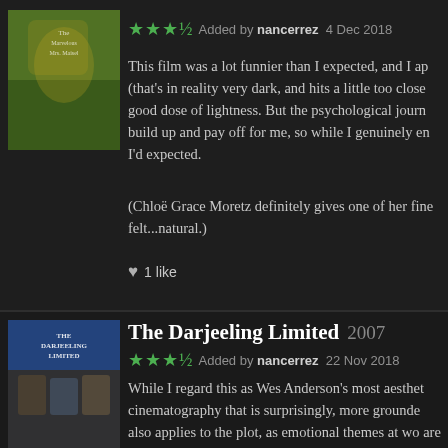[Figure (photo): Movie poster for a film (partially visible), greenish-yellow toned]
★★★½ Added by nancerrez 4 Dec 2018
This film was a lot funnier than I expected, and I ap (that's in reality very dark, and hits a little too close good dose of lightness. But the psychological journ build up and pay off for me, so while I genuinely en I'd expected.
(Chloë Grace Moretz definitely gives one of her fine felt...natural.)
♥ 1 like
[Figure (photo): Movie poster for The Darjeeling Limited, featuring three figures in a blue and warm-toned train station setting]
The Darjeeling Limited 2007
★★★½ Added by nancerrez 22 Nov 2018
While I regard this as Wes Anderson's most aesthet cinematography that is surprisingly, more grounde also applies to the plot, as emotional themes at wo are given more weight (but not examined much fur